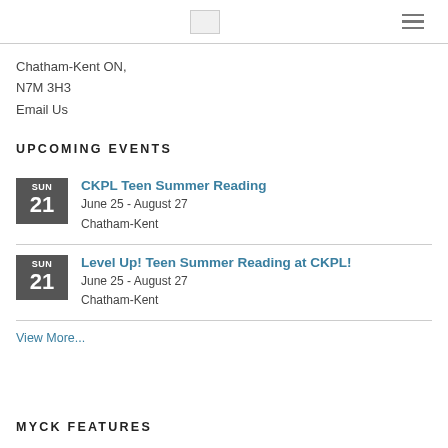[Logo] [Hamburger menu]
Chatham-Kent ON,
N7M 3H3
Email Us
UPCOMING EVENTS
CKPL Teen Summer Reading
June 25 - August 27
Chatham-Kent
SUN 21
Level Up! Teen Summer Reading at CKPL!
June 25 - August 27
Chatham-Kent
SUN 21
View More...
MYCK FEATURES